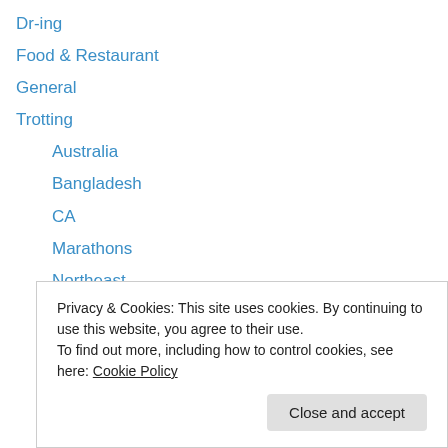Dr-ing
Food & Restaurant
General
Trotting
Australia
Bangladesh
CA
Marathons
Northeast
Run Review
Running
Tanzania
Travel
Privacy & Cookies: This site uses cookies. By continuing to use this website, you agree to their use.
To find out more, including how to control cookies, see here: Cookie Policy
Close and accept